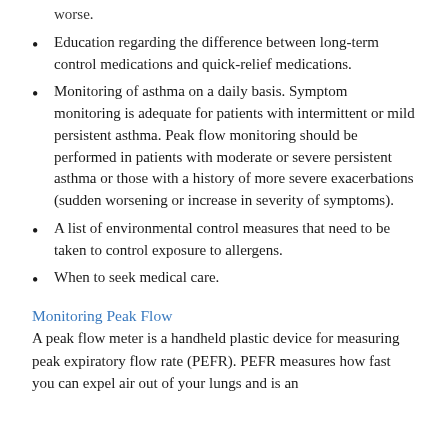worse.
Education regarding the difference between long-term control medications and quick-relief medications.
Monitoring of asthma on a daily basis. Symptom monitoring is adequate for patients with intermittent or mild persistent asthma. Peak flow monitoring should be performed in patients with moderate or severe persistent asthma or those with a history of more severe exacerbations (sudden worsening or increase in severity of symptoms).
A list of environmental control measures that need to be taken to control exposure to allergens.
When to seek medical care.
Monitoring Peak Flow
A peak flow meter is a handheld plastic device for measuring peak expiratory flow rate (PEFR). PEFR measures how fast you can expel air out of your lungs and is an